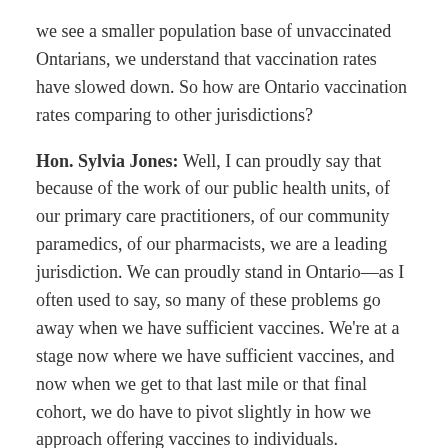we see a smaller population base of unvaccinated Ontarians, we understand that vaccination rates have slowed down. So how are Ontario vaccination rates comparing to other jurisdictions?
Hon. Sylvia Jones: Well, I can proudly say that because of the work of our public health units, of our primary care practitioners, of our community paramedics, of our pharmacists, we are a leading jurisdiction. We can proudly stand in Ontario—as I often used to say, so many of these problems go away when we have sufficient vaccines. We're at a stage now where we have sufficient vaccines, and now when we get to that last mile or that final cohort, we do have to pivot slightly in how we approach offering vaccines to individuals.
Again, I'm sorry that I keep bringing up the GO-VAXX bus, but it really is an example of a new method, a new pathway to get people interested and engaged, and it is working. Actually, I think on Saturday the GO-VAXX bus is going to